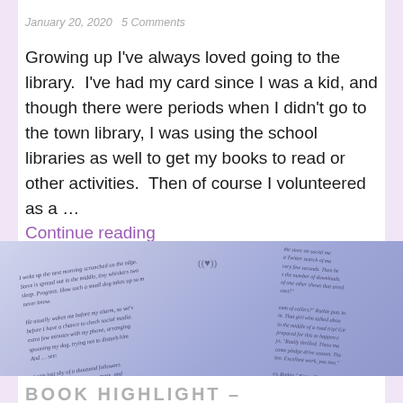January 20, 2020   5 Comments
Growing up I've always loved going to the library.  I've had my card since I was a kid, and though there were periods when I didn't go to the town library, I was using the school libraries as well to get my books to read or other activities.  Then of course I volunteered as a …
Continue reading
[Figure (photo): Close-up photo of open book pages with italic text visible, slightly blurred, in blue-lavender tones]
BOOK HIGHLIGHT – LIBRARIAN'S